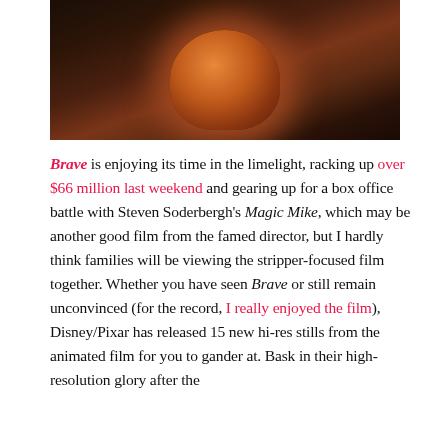[Figure (photo): A still from the Pixar animated film Brave, showing the red-haired character Merida smiling, surrounded by dark wooden structures and warm amber lighting.]
Brave is enjoying its time in the limelight, racking up over $66 million last weekend and gearing up for a box office battle with Steven Soderbergh's Magic Mike, which may be another good film from the famed director, but I hardly think families will be viewing the stripper-focused film together. Whether you have seen Brave or still remain unconvinced (for the record, I really enjoyed the film), Disney/Pixar has released 15 new hi-res stills from the animated film for you to gander at. Bask in their high-resolution glory after the